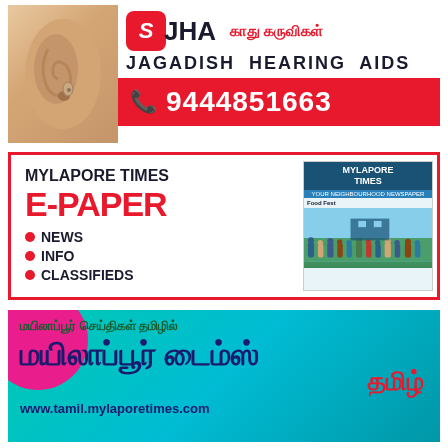[Figure (infographic): Jagadish Hearing Aids advertisement with ear photo, JHA logo, Tamil text காது கருவிகள், JAGADISH HEARING AIDS text, and phone number 9444851663 on red background]
[Figure (infographic): Mylapore Times E-Paper advertisement with red border. Left: MYLAPORE TIMES E-PAPER header, bullet points NEWS, INFO, CLASSIFIEDS in dark blue. Right: newspaper front page image showing Mylapore Times masthead and crowd photo]
[Figure (infographic): Mylapore Times Tamil advertisement on cyan/teal gradient background with pink blob. Tamil text: மயிலாப்பூர் செய்திகள் தமிழில், மயிலாப்பூர் டைம்ஸ், தமிழ், URL: www.tamil.mylaporetimes.com]